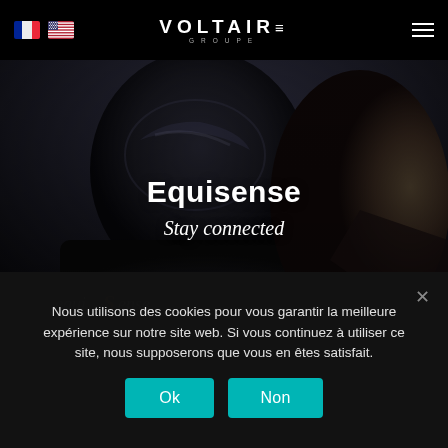Voltaire Groupe — navigation header with French and US flags, logo, and hamburger menu
[Figure (photo): Hero image showing a horseback rider from behind wearing a dark helmet and equestrian jacket with EquiSense logo. Overlaid with text 'Equisense' and 'Stay connected'.]
Equisense
Stay connected
Nous utilisons des cookies pour vous garantir la meilleure expérience sur notre site web. Si vous continuez à utiliser ce site, nous supposerons que vous en êtes satisfait.